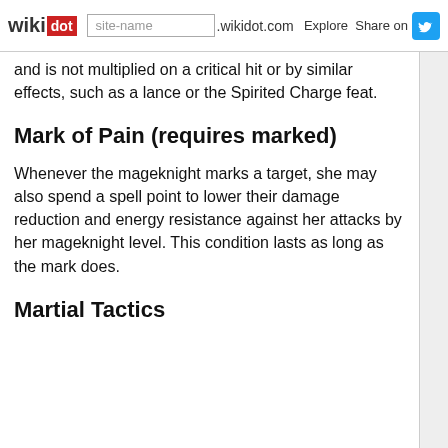wikidot | site-name .wikidot.com | Explore | Share on
and is not multiplied on a critical hit or by similar effects, such as a lance or the Spirited Charge feat.
Mark of Pain (requires marked)
Whenever the mageknight marks a target, she may also spend a spell point to lower their damage reduction and energy resistance against her attacks by her mageknight level. This condition lasts as long as the mark does.
Martial Tactics